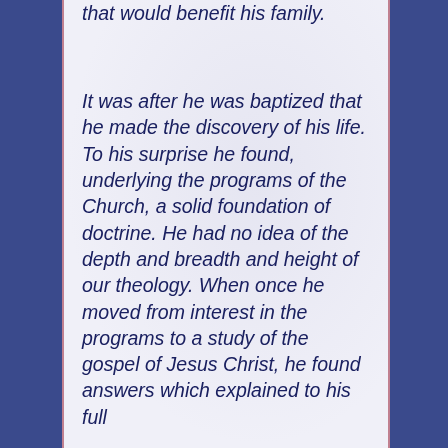that would benefit his family.
It was after he was baptized that he made the discovery of his life. To his surprise he found, underlying the programs of the Church, a solid foundation of doctrine. He had no idea of the depth and breadth and height of our theology. When once he moved from interest in the programs to a study of the gospel of Jesus Christ, he found answers which explained to his full